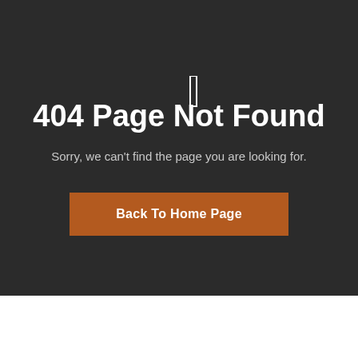404 Page Not Found
Sorry, we can't find the page you are looking for.
[Figure (illustration): A blinking cursor icon (vertical rectangle) above the 404 heading]
Back To Home Page